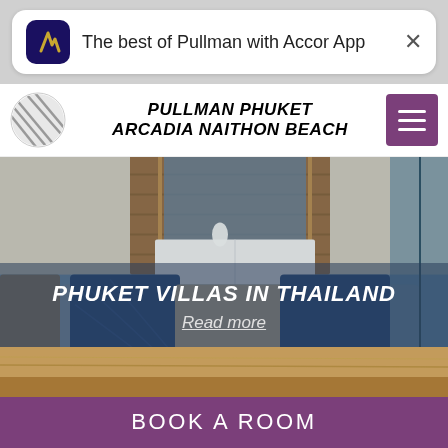[Figure (screenshot): Notification banner for Accor App with dark purple icon showing stylized 'A' logo, text 'The best of Pullman with Accor App' and close X button]
PULLMAN PHUKET ARCADIA NAITHON BEACH
[Figure (photo): Hotel suite interior with sofa, decorative blue and beige pillows, headboard, white dresser with bird sculpture, wooden slatted backdrop, overlaid with text 'PHUKET VILLAS IN THAILAND' and 'Read more' link]
[Figure (photo): Blurred close-up of wooden surface below main hero image]
BOOK A ROOM